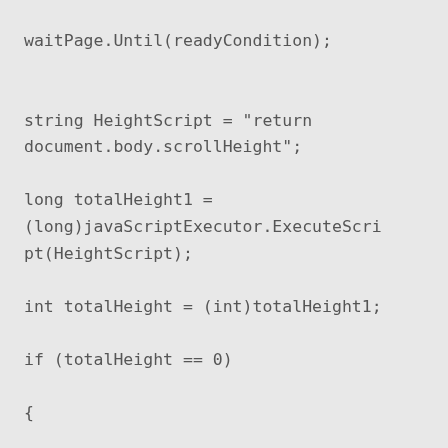waitPage.Until(readyCondition);

string HeightScript = "return document.body.scrollHeight";

long totalHeight1 = (long)javaScriptExecutor.ExecuteScript(HeightScript);

int totalHeight = (int)totalHeight1;

if (totalHeight == 0)

{

totalHeight = normalHeight + additionalHeight;